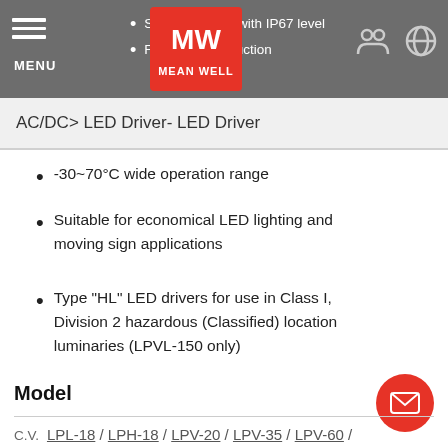MENU | MW MEAN WELL | [navigation icons]
Slim type case with IP67 level
Fan-free construction
AC/DC> LED Driver- LED Driver
-30~70°C wide operation range
Suitable for economical LED lighting and moving sign applications
Type "HL" LED drivers for use in Class I, Division 2 hazardous (Classified) location luminaries (LPVL-150 only)
Model
C.V.  LPL-18 / LPH-18 / LPV-20 / LPV-35 / LPV-60 / LPV-100 / LPVL-150 / LPV-150
C.C.  LPHC-18 / LPC-20 / LPC-35 / LPC-60 / LPC-100 / LPC-150